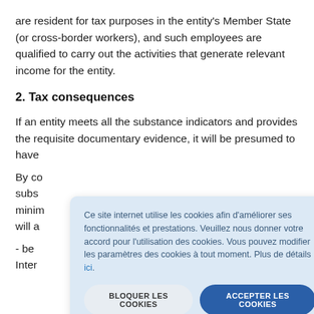are resident for tax purposes in the entity's Member State (or cross-border workers), and such employees are qualified to carry out the activities that generate relevant income for the entity.
2. Tax consequences
If an entity meets all the substance indicators and provides the requisite documentary evidence, it will be presumed to have...
By co... subs... minim... will a...
- be... Inter...
[Figure (other): Cookie consent dialog overlay in French. Text: 'Ce site internet utilise les cookies afin d'améliorer ses fonctionnalités et prestations. Veuillez nous donner votre accord pour l'utilisation des cookies. Vous pouvez modifier les paramètres des cookies à tout moment. Plus de détails ici.' Buttons: 'BLOQUER LES COOKIES' and 'ACCEPTER LES COOKIES'. Close button (×) in top right.]